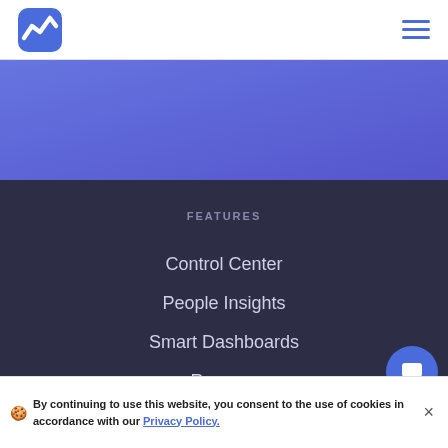[Figure (logo): Blue angular upward-trending logo mark (Baremetrics or similar SaaS analytics logo)]
[Figure (illustration): Hamburger menu icon with three horizontal blue lines, top right of nav bar]
[Figure (illustration): Blue to purple horizontal gradient band below nav bar]
FEATURES
Control Center
People Insights
Smart Dashboards
Recover
Cancellation Insights
Forecasting
By continuing to use this website, you consent to the use of cookies in accordance with our Privacy Policy.